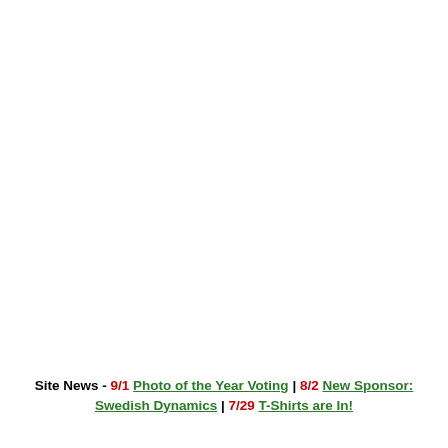Site News - 9/1 Photo of the Year Voting | 8/2 New Sponsor: Swedish Dynamics | 7/29 T-Shirts are In!